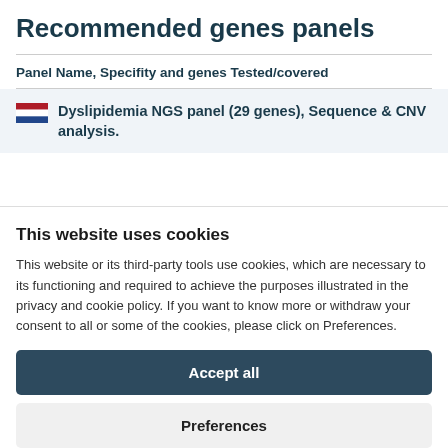Recommended genes panels
| Panel Name, Specifity and genes Tested/covered |
| --- |
| 🇳🇱 Dyslipidemia NGS panel (29 genes), Sequence & CNV analysis. |
This website uses cookies
This website or its third-party tools use cookies, which are necessary to its functioning and required to achieve the purposes illustrated in the privacy and cookie policy. If you want to know more or withdraw your consent to all or some of the cookies, please click on Preferences.
Accept all
Preferences